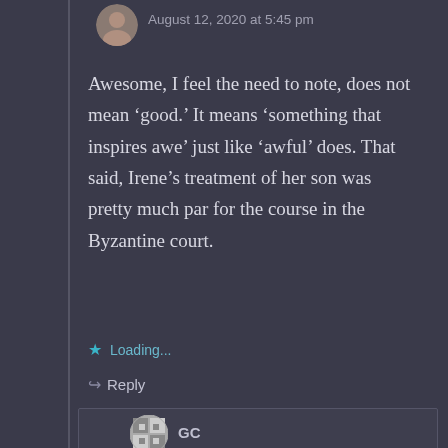August 12, 2020 at 5:45 pm
Awesome, I feel the need to note, does not mean ‘good.’ It means ‘something that inspires awe’ just like ‘awful’ does. That said, Irene’s treatment of her son was pretty much par for the course in the Byzantine court.
Loading...
Reply
GC